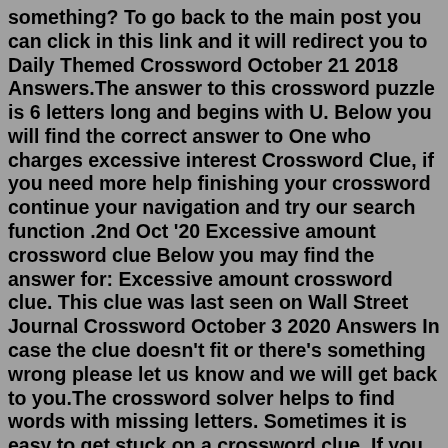something? To go back to the main post you can click in this link and it will redirect you to Daily Themed Crossword October 21 2018 Answers.The answer to this crossword puzzle is 6 letters long and begins with U. Below you will find the correct answer to One who charges excessive interest Crossword Clue, if you need more help finishing your crossword continue your navigation and try our search function .2nd Oct '20 Excessive amount crossword clue Below you may find the answer for: Excessive amount crossword clue. This clue was last seen on Wall Street Journal Crossword October 3 2020 Answers In case the clue doesn't fit or there's something wrong please let us know and we will get back to you.The crossword solver helps to find words with missing letters. Sometimes it is easy to get stuck on a crossword clue. If you already have some letters and a length of the crossword puzzle then we can help. Our crossword clue solver searches for answers from a dictionary of over 558 516 words, city or country names, names and other clues.This crossword clue Excessive